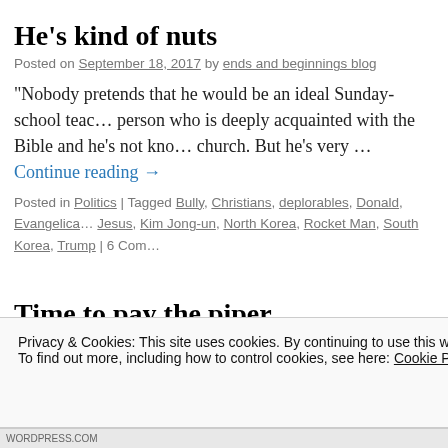He's kind of nuts
Posted on September 18, 2017 by ends and beginnings blog
“Nobody pretends that he would be an ideal Sunday-school teacher, or a person who is deeply acquainted with the Bible and he's not known for going to church. But he's very … Continue reading →
Posted in Politics | Tagged Bully, Christians, deplorables, Donald, Evangelicals, Jesus, Kim Jong-un, North Korea, Rocket Man, South Korea, Trump | 6 Comments
Time to pay the piper
Posted on September 14, 2017 by ends and beginnings blog
“It’s been so long now, But it seems now, that it was only yesterday…
Privacy & Cookies: This site uses cookies. By continuing to use this website, you agree to their use.
To find out more, including how to control cookies, see here: Cookie Policy